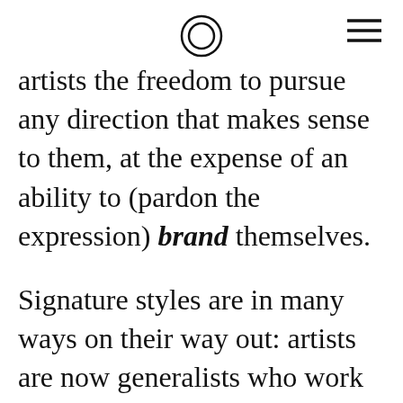[logo icon] [hamburger menu icon]
artists the freedom to pursue any direction that makes sense to them, at the expense of an ability to (pardon the expression) brand themselves.
Signature styles are in many ways on their way out: artists are now generalists who work with drawing, sculpture, installation, painting, video and web digital media, in myriad ways, with whatever format helps to best solve the problem of the moment. This lack of a signature style is an associated aspect, often but not always, of being an artist's